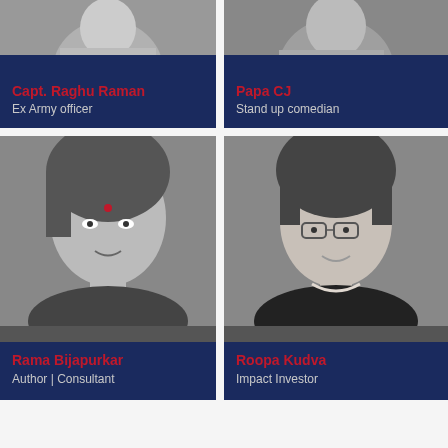[Figure (photo): Portrait photo of Capt. Raghu Raman, ex army officer, grayscale, partially visible at top]
Capt. Raghu Raman
Ex Army officer
[Figure (photo): Portrait photo of Papa CJ, stand up comedian, grayscale, partially visible at top]
Papa CJ
Stand up comedian
[Figure (photo): Portrait photo of Rama Bijapurkar, author and consultant, grayscale, smiling woman]
Rama Bijapurkar
Author | Consultant
[Figure (photo): Portrait photo of Roopa Kudva, impact investor, grayscale, woman with glasses]
Roopa Kudva
Impact Investor